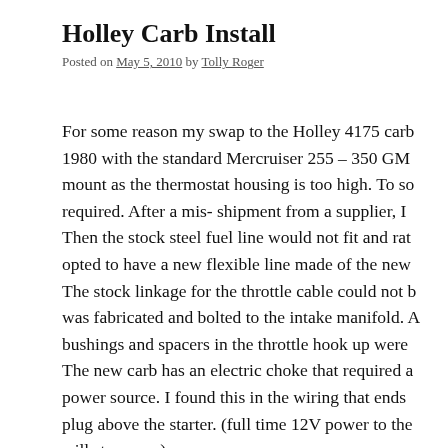Holley Carb Install
Posted on May 5, 2010 by Tolly Roger
For some reason my swap to the Holley 4175 carb 1980 with the standard Mercruiser 255 – 350 GM mount as the thermostat housing is too high. To so required. After a mis- shipment from a supplier, I Then the stock steel fuel line would not fit and rat opted to have a new flexible line made of the new The stock linkage for the throttle cable could not b was fabricated and bolted to the intake manifold. A bushings and spacers in the throttle hook up were The new carb has an electric choke that required a power source. I found this in the wiring that ends plug above the starter. (full time 12V power to the will stay open) After all this the engine started and ran very well a adjustment to the idle.